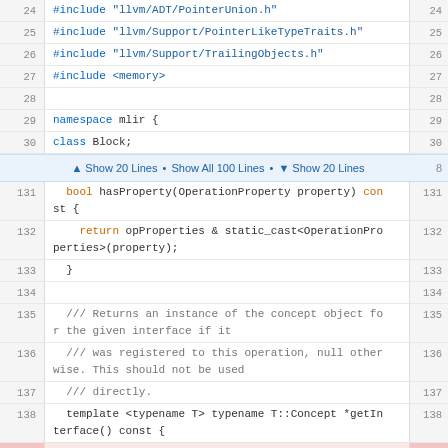Code viewer showing C++ source lines 24-30 and 131-142
Show 20 Lines • Show All 100 Lines • Show 20 Lines navigation bar
Lines 131-142: hasProperty, return opProperties, getInterface template, return reinterpret_cast, getRawInterface